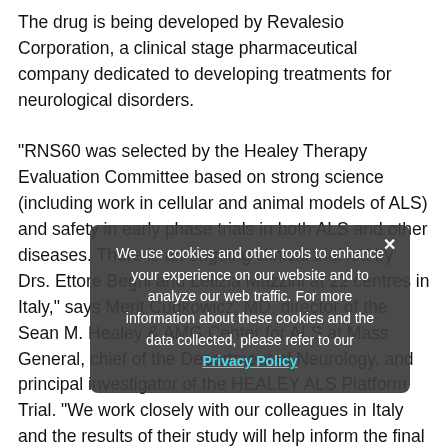The drug is being developed by Revalesio Corporation, a clinical stage pharmaceutical company dedicated to developing treatments for neurological disorders.
"RNS60 was selected by the Healey Therapy Evaluation Committee based on strong science (including work in cellular and animal models of ALS) and safety in early phase trials in both ALS and other diseases. There is an ongoing clinical trial led by Drs. Ettore Beghi and Letizia Mazzini at 22 centres in Italy," says Merit Cudkowicz, MD, director of the Sean M. Healey & AMG Center for ALS at Mass General, chief of the Department of Neurology, and principal investigator of the HEALEY ALS Platform Trial. "We work closely with our colleagues in Italy and the results of their study will help inform the final design of the RNS60 regimen in the HEALEY ALS platform trial."
We use cookies and other tools to enhance your experience on our website and to analyze our web traffic. For more information about these cookies and the data collected, please refer to our Privacy Policy
"RNS60 was also safe and well tolerated in a previous open